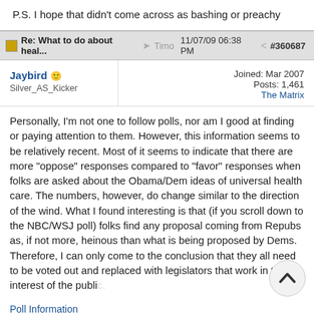P.S. I hope that didn't come across as bashing or preachy
Re: What to do about heal...  Timo  11/07/09 06:38 PM  #360687
Jaybird  Silver_AS_Kicker  Joined: Mar 2007  Posts: 1,461  The Matrix
Personally, I'm not one to follow polls, nor am I good at finding or paying attention to them. However, this information seems to be relatively recent. Most of it seems to indicate that there are more "oppose" responses compared to "favor" responses when folks are asked about the Obama/Dem ideas of universal health care. The numbers, however, do change similar to the direction of the wind. What I found interesting is that (if you scroll down to the NBC/WSJ poll) folks find any proposal coming from Repubs as, if not more, heinous than what is being proposed by Dems. Therefore, I can only come to the conclusion that they all need to be voted out and replaced with legislators that work in the interest of the public.
Poll Information